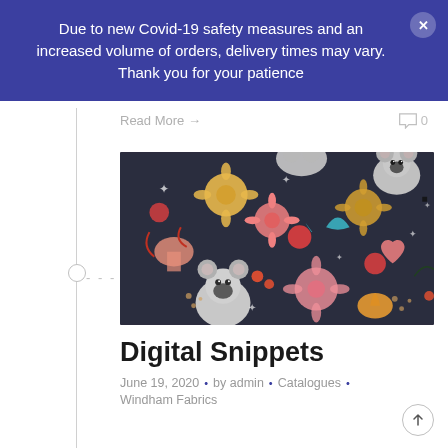Due to new Covid-19 safety measures and an increased volume of orders, delivery times may vary. Thank you for your patience
Read More →   0
[Figure (illustration): Colorful fabric/textile pattern featuring illustrated koala bears and flowers on a dark navy background — digital snippet product image]
Digital Snippets
June 19, 2020  ·  by admin  ·  Catalogues  ·  Windham Fabrics